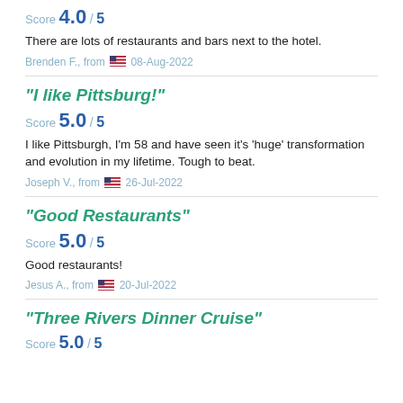Score 4.0 / 5
There are lots of restaurants and bars next to the hotel.
Brenden F., from 🇺🇸 08-Aug-2022
"I like Pittsburg!"
Score 5.0 / 5
I like Pittsburgh, I'm 58 and have seen it's 'huge' transformation and evolution in my lifetime. Tough to beat.
Joseph V., from 🇺🇸 26-Jul-2022
"Good Restaurants"
Score 5.0 / 5
Good restaurants!
Jesus A., from 🇺🇸 20-Jul-2022
"Three Rivers Dinner Cruise"
Score 5.0 / 5